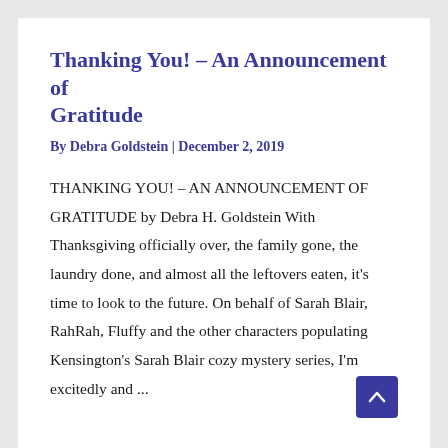Thanking You! – An Announcement of Gratitude
By Debra Goldstein | December 2, 2019
THANKING YOU! – AN ANNOUNCEMENT OF GRATITUDE by Debra H. Goldstein With Thanksgiving officially over, the family gone, the laundry done, and almost all the leftovers eaten, it's time to look to the future. On behalf of Sarah Blair, RahRah, Fluffy and the other characters populating Kensington's Sarah Blair cozy mystery series, I'm excitedly and ...